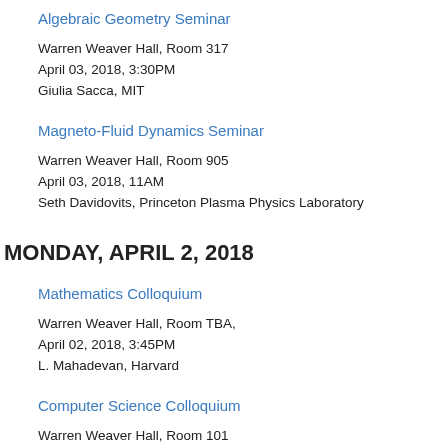Algebraic Geometry Seminar
Warren Weaver Hall, Room 317
April 03, 2018, 3:30PM
Giulia Sacca, MIT
Magneto-Fluid Dynamics Seminar
Warren Weaver Hall, Room 905
April 03, 2018, 11AM
Seth Davidovits, Princeton Plasma Physics Laboratory
MONDAY, APRIL 2, 2018
Mathematics Colloquium
Warren Weaver Hall, Room TBA,
April 02, 2018, 3:45PM
L. Mahadevan, Harvard
Computer Science Colloquium
Warren Weaver Hall, Room 101
April 02, 2018, 2PM